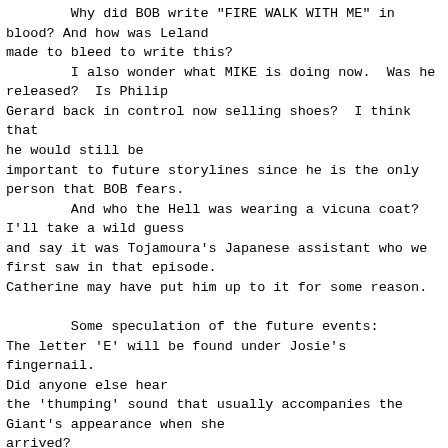Why did BOB write "FIRE WALK WITH ME" in blood? And how was Leland made to bleed to write this?
        I also wonder what MIKE is doing now.  Was he released?  Is Philip Gerard back in control now selling shoes?  I think that he would still be important to future storylines since he is the only person that BOB fears.
        And who the Hell was wearing a vicuna coat? I'll take a wild guess and say it was Tojamoura's Japanese assistant who we first saw in that episode.
Catherine may have put him up to it for some reason.

        Some speculation of the future events:
The letter 'E' will be found under Josie's fingernail. Did anyone else hear the 'thumping' sound that usually accompanies the Giant's appearance when she arrived?
The cross-dresser is obviously a new character.  Since